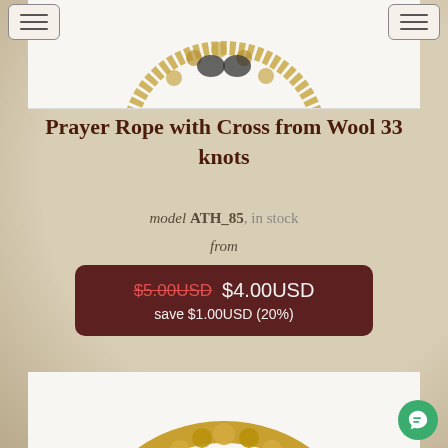[Figure (photo): Partial view of a prayer rope (chotki/komboskini) with wool knots, top portion cut off, shown on white background]
Prayer Rope with Cross from Wool 33 knots
model ATH_85, in stock
from
$5.00USD $4.00USD save $1.00USD (20%)
[Figure (photo): Prayer rope (komboskini) made of golden/yellow wool knots arranged in a circular shape, shown on white background, partially cut off at bottom]